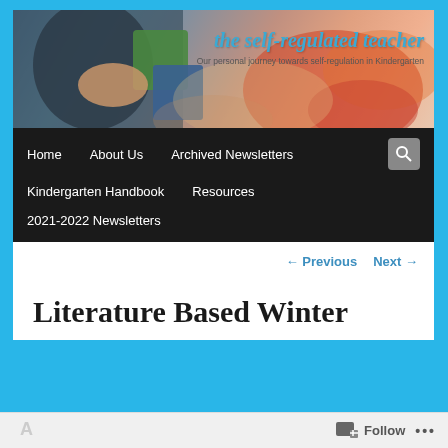[Figure (screenshot): Blog header banner showing a child's hands playing with colorful building blocks, with the blog title 'the self-regulated teacher' in blue italic text and subtitle 'Our personal journey towards self-regulation in Kindergarten']
the self-regulated teacher
Our personal journey towards self-regulation in Kindergarten
Home   About Us   Archived Newsletters   Kindergarten Handbook   Resources   2021-2022 Newsletters
← Previous   Next →
Literature Based Winter